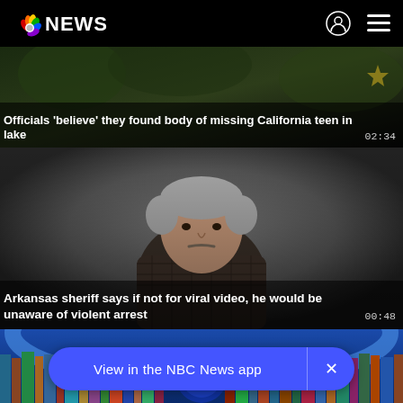NBC NEWS
[Figure (screenshot): Video thumbnail: dark outdoor scene with green foliage. Headline overlay: Officials 'believe' they found body of missing California teen in lake. Duration: 02:34]
[Figure (screenshot): Video thumbnail: middle-aged man with grey hair and mustache wearing a plaid shirt speaking, grey background. Headline overlay: Arkansas sheriff says if not for viral video, he would be unaware of violent arrest. Duration: 00:48]
[Figure (screenshot): Video thumbnail: partial view of a bookshelf with colorful book spines and a blue arc design element]
View in the NBC News app